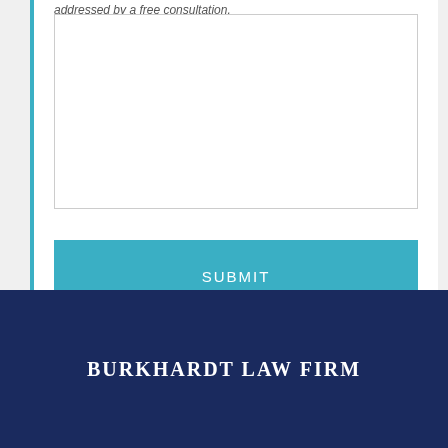addressed by a free consultation.
[Figure (other): Empty white textarea input field with light gray border]
[Figure (other): Blue SUBMIT button]
BURKHARDT LAW FIRM